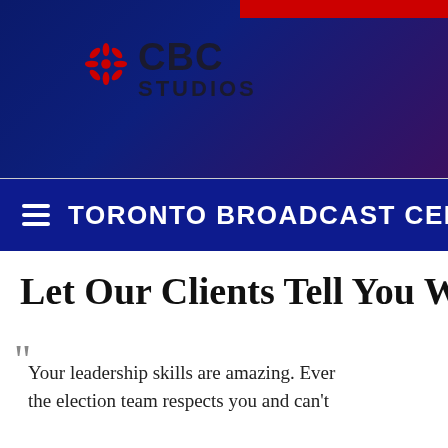[Figure (logo): CBC Studios logo with red gem icon and black CBC STUDIOS text on dark blue/purple gradient background with red accent bar at top right]
TORONTO BROADCAST CEN
Let Our Clients Tell You W
Your leadership skills are amazing. Ever the election team respects you and can't